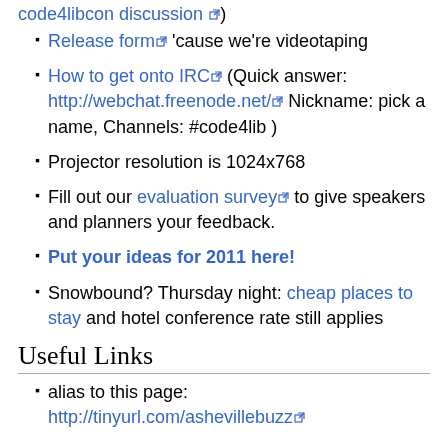code4libcon discussion )
Release form 'cause we're videotaping
How to get onto IRC (Quick answer: http://webchat.freenode.net/ Nickname: pick a name, Channels: #code4lib )
Projector resolution is 1024x768
Fill out our evaluation survey to give speakers and planners your feedback.
Put your ideas for 2011 here!
Snowbound? Thursday night: cheap places to stay and hotel conference rate still applies
Useful Links
alias to this page: http://tinyurl.com/ashevillebuzz